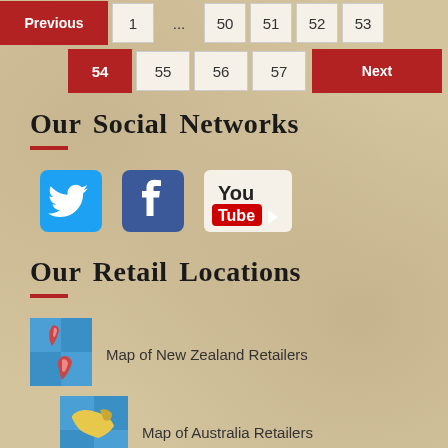Pagination navigation with pages: Previous, 1, ..., 50, 51, 52, 53, 54, 55, 56, 57, Next
Our Social Networks
[Figure (illustration): Twitter bird logo icon (blue square with white bird)]
[Figure (illustration): Facebook 'f' logo icon (dark blue square with white f)]
[Figure (illustration): YouTube logo icon (white 'You' over red 'Tube' with play button)]
Our Retail Locations
[Figure (map): Map thumbnail of New Zealand (blue background with NZ map outline)]
Map of New Zealand Retailers
[Figure (map): Map thumbnail of Australia (blue background with Australia map outline)]
Map of Australia Retailers
R... (partial, cut off at bottom)